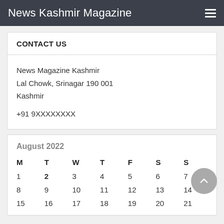News Kashmir Magazine
CONTACT US
News Magazine Kashmir
Lal Chowk, Srinagar 190 001
Kashmir

+91 9XXXXXXXX
| M | T | W | T | F | S | S |
| --- | --- | --- | --- | --- | --- | --- |
| 1 | 2 | 3 | 4 | 5 | 6 | 7 |
| 8 | 9 | 10 | 11 | 12 | 13 | 14 |
| 15 | 16 | 17 | 18 | 19 | 20 | 21 |